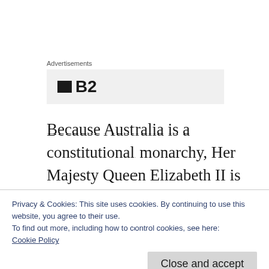Advertisements
[Figure (other): Advertisement placeholder box with a dark square icon and bold text 'B2']
Because Australia is a constitutional monarchy, Her Majesty Queen Elizabeth II is our head of state. But because she lives in the UK, her powers and duties are exercised by a “representative” here. known as the
Privacy & Cookies: This site uses cookies. By continuing to use this website, you agree to their use.
To find out more, including how to control cookies, see here:
Cookie Policy
Close and accept
on Governors-General, though the unofficial